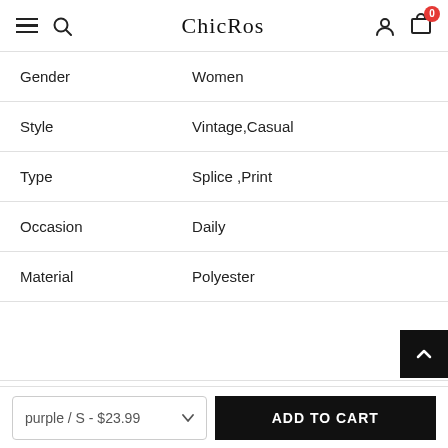ChicRos
| Gender | Women |
| Style | Vintage,Casual |
| Type | Splice ,Print |
| Occasion | Daily |
| Material | Polyester |
|  |  |
| SIZE CHART: |  |
|  | Bust | Length |
purple / S - $23.99
ADD TO CART